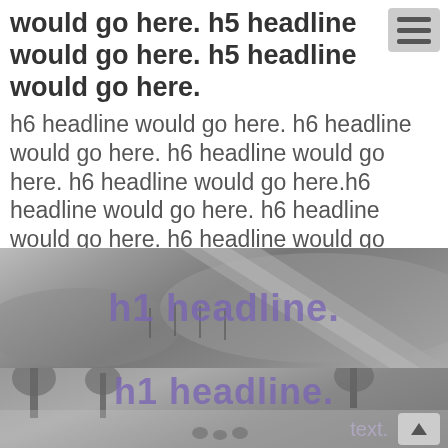would go here. h5 headline would go here. h5 headline would go here.
h6 headline would go here. h6 headline would go here. h6 headline would go here. h6 headline would go here.h6 headline would go here. h6 headline would go here. h6 headline would go here. h6 headline would go here.
[Figure (photo): Grayscale aerial/elevated photo of a road curving through hilly terrain with text overlay reading 'h1 headline.' in purple]
[Figure (photo): Grayscale photo of a park scene with trees and people with text overlay reading 'h1 headline.' in purple and small text 'text.' at bottom]